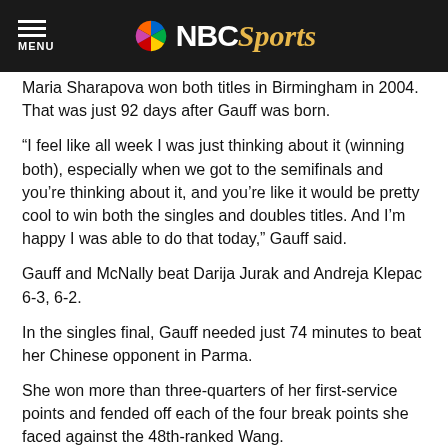NBC Sports
Maria Sharapova won both titles in Birmingham in 2004. That was just 92 days after Gauff was born.
“I feel like all week I was just thinking about it (winning both), especially when we got to the semifinals and you’re thinking about it, and you’re like it would be pretty cool to win both the singles and doubles titles. And I’m happy I was able to do that today,” Gauff said.
Gauff and McNally beat Darija Jurak and Andreja Klepac 6-3, 6-2.
In the singles final, Gauff needed just 74 minutes to beat her Chinese opponent in Parma.
She won more than three-quarters of her first-service points and fended off each of the four break points she faced against the 48th-ranked Wang.